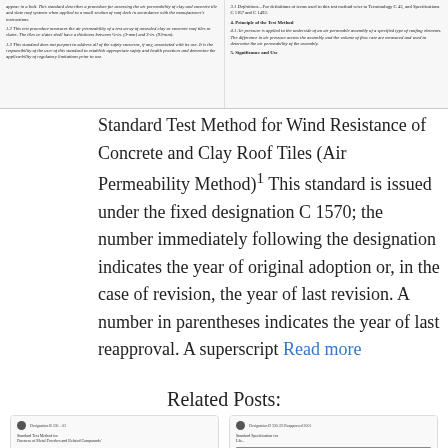[Figure (screenshot): Scanned document page showing two columns of small text from an ASTM standard about air permeability of clay and concrete tile and slate roof systems. Left column includes sections 1.2, 1.3. Right column includes sections 3.1 Definitions, 4 Principle of the Test Method (4.1), and 5 Significance and Use.]
Standard Test Method for Wind Resistance of Concrete and Clay Roof Tiles (Air Permeability Method)1 This standard is issued under the fixed designation C 1570; the number immediately following the designation indicates the year of original adoption or, in the case of revision, the year of last revision. A number in parentheses indicates the year of last reapproval. A superscript Read more
Related Posts:
[Figure (screenshot): Card thumbnail showing a scanned ASTM document page with logo, designation number, and title 'Standard Test Method for Fineness of Metal Powders and Related Compounds'. Caption overlay reads 'Astm B 330 – 02 Pdf free']
[Figure (screenshot): Card thumbnail showing a scanned ASTM document page with logo, designation 'D 330-93 Reapproved 2001', and title 'Standard Specification for Lib...' Caption overlay reads 'Astm D 330 – 93 (Reapproved 2001) Pdf free']